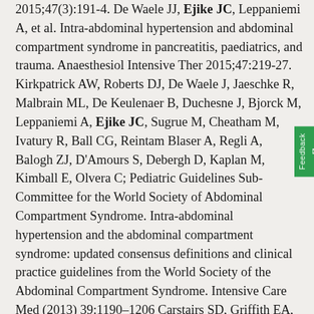2015;47(3):191-4. De Waele JJ, Ejike JC, Leppaniemi A, et al. Intra-abdominal hypertension and abdominal compartment syndrome in pancreatitis, paediatrics, and trauma. Anaesthesiol Intensive Ther 2015;47:219-27. Kirkpatrick AW, Roberts DJ, De Waele J, Jaeschke R, Malbrain ML, De Keulenaer B, Duchesne J, Bjorck M, Leppaniemi A, Ejike JC, Sugrue M, Cheatham M, Ivatury R, Ball CG, Reintam Blaser A, Regli A, Balogh ZJ, D'Amours S, Debergh D, Kaplan M, Kimball E, Olvera C; Pediatric Guidelines Sub-Committee for the World Society of Abdominal Compartment Syndrome. Intra-abdominal hypertension and the abdominal compartment syndrome: updated consensus definitions and clinical practice guidelines from the World Society of the Abdominal Compartment Syndrome. Intensive Care Med (2013) 39:1190–1206 Carstairs SD, Griffith EA, Alayin T, Ejike JC, Cantrell FL. Recurrent seizure activity in a child after acute vilazodone ingestion. Ann Emerg Med.